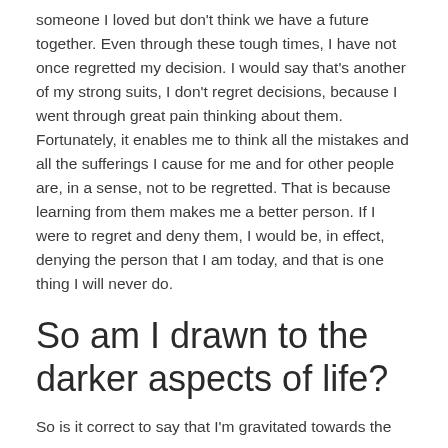someone I loved but don't think we have a future together. Even through these tough times, I have not once regretted my decision. I would say that's another of my strong suits, I don't regret decisions, because I went through great pain thinking about them. Fortunately, it enables me to think all the mistakes and all the sufferings I cause for me and for other people are, in a sense, not to be regretted. That is because learning from them makes me a better person. If I were to regret and deny them, I would be, in effect, denying the person that I am today, and that is one thing I will never do.
So am I drawn to the darker aspects of life?
So is it correct to say that I'm gravitated towards the